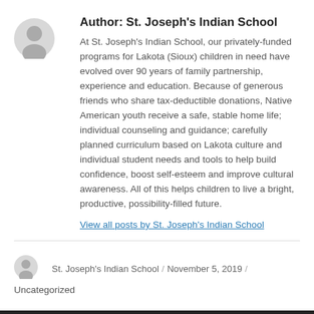Author: St. Joseph's Indian School
At St. Joseph's Indian School, our privately-funded programs for Lakota (Sioux) children in need have evolved over 90 years of family partnership, experience and education. Because of generous friends who share tax-deductible donations, Native American youth receive a safe, stable home life; individual counseling and guidance; carefully planned curriculum based on Lakota culture and individual student needs and tools to help build confidence, boost self-esteem and improve cultural awareness. All of this helps children to live a bright, productive, possibility-filled future.
View all posts by St. Joseph's Indian School
St. Joseph's Indian School / November 5, 2019 / Uncategorized